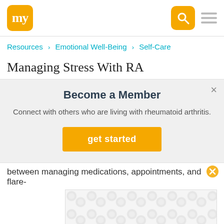[Figure (logo): myRA website logo - orange rounded square with 'my' text in white]
Resources > Emotional Well-Being > Self-Care
Managing Stress With RA
Become a Member
Connect with others who are living with rheumatoid arthritis.
get started
between managing medications, appointments, and flare-
[Figure (other): Advertisement placeholder with bubble/circle pattern]